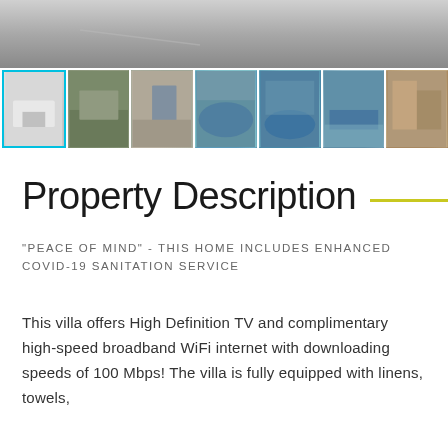[Figure (photo): Top banner photo of a concrete driveway/surface, gray tones]
[Figure (photo): Row of 7 property thumbnail photos showing exterior views, pool, and interior of a villa. First thumbnail is selected/highlighted with cyan border.]
Property Description
“PEACE OF MIND” - THIS HOME INCLUDES ENHANCED COVID-19 SANITATION SERVICE
This villa offers High Definition TV and complimentary high-speed broadband WiFi internet with downloading speeds of 100 Mbps! The villa is fully equipped with linens, towels,